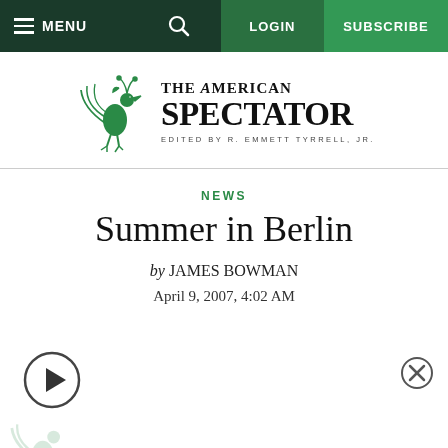MENU | [search icon] | LOGIN | SUBSCRIBE
[Figure (logo): The American Spectator logo with green peacock bird illustration and text 'THE AMERICAN SPECTATOR / EDITED BY R. EMMETT TYRRELL, JR.']
NEWS
Summer in Berlin
by JAMES BOWMAN
April 9, 2007, 4:02 AM
[Figure (other): Audio play button (triangle in circle) on left, close button (X in circle) on right]
[Figure (logo): Partial American Spectator bird logo visible at bottom left, faded]